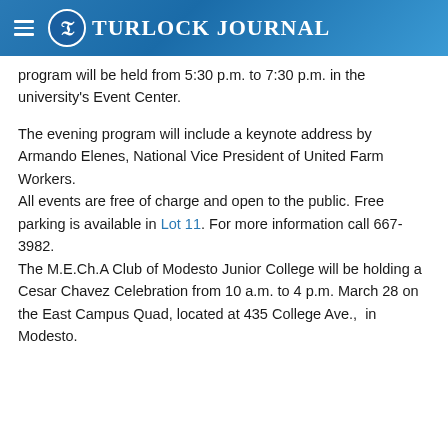Turlock Journal
program will be held from 5:30 p.m. to 7:30 p.m. in the university's Event Center.
The evening program will include a keynote address by Armando Elenes, National Vice President of United Farm Workers.
All events are free of charge and open to the public. Free parking is available in Lot 11. For more information call 667-3982.
The M.E.Ch.A Club of Modesto Junior College will be holding a Cesar Chavez Celebration from 10 a.m. to 4 p.m. March 28 on the East Campus Quad, located at 435 College Ave.,  in Modesto.